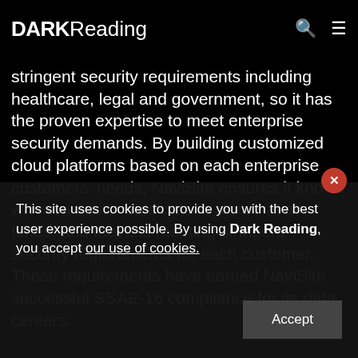DARK Reading
stringent security requirements including healthcare, legal and government, so it has the proven expertise to meet enterprise security demands. By building customized cloud platforms based on each enterprise customers' needs, NaviSite ensures it knows where a customer's data is stored at all times, and that it is meeting stringent security requirements for each customer. These requirements have earned NaviSite successful SSAE-16 compliance for its data centers.
"Th...
This site uses cookies to provide you with the best user experience possible. By using Dark Reading, you accept our use of cookies.